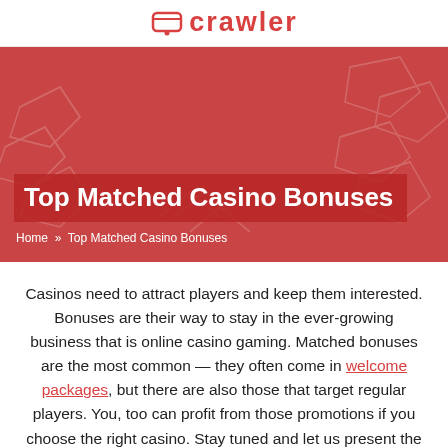crawler
[Figure (illustration): Red hero banner with decorative geometric/circuit-board pattern background]
Top Matched Casino Bonuses
Home » Top Matched Casino Bonuses
Casinos need to attract players and keep them interested. Bonuses are their way to stay in the ever-growing business that is online casino gaming. Matched bonuses are the most common — they often come in welcome packages, but there are also those that target regular players. You, too can profit from those promotions if you choose the right casino. Stay tuned and let us present the best matched casino bonuses.